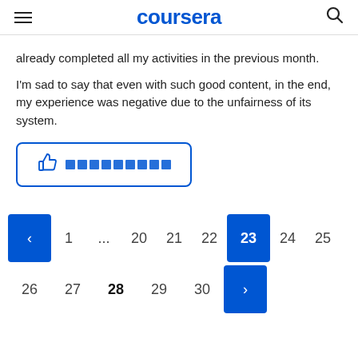coursera
already completed all my activities in the previous month.
I'm sad to say that even with such good content, in the end, my experience was negative due to the unfairness of its system.
[Figure (other): Thumbs up helpful button with blue border and blue square icon placeholders]
[Figure (other): Pagination control showing pages: < 1 ... 20 21 22 23 24 25 on first row and 26 27 28 29 30 > on second row, with current page 23 active (blue) and next arrow >]